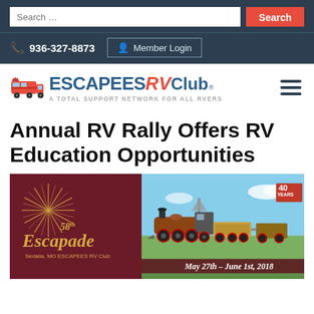Search ... [Search button] | 📞 936-327-8873 | Member Login
[Figure (logo): Escapees RV Club logo — red RV icon, text 'ESCAPEES RV Club' with tagline 'A TOTAL SUPPORT NETWORK FOR ALL RVERS']
Annual RV Rally Offers RV Education Opportunities
[Figure (illustration): 58th Escapade banner — dark maroon left half with gold starburst and '58th Escapade Sedalia, MO Escapees RV Club' text, right half showing a vintage steam locomotive on green field with blue sky, '40 Years' red badge top right, and 'May 27th - June 1st, 2018' date overlay at bottom]